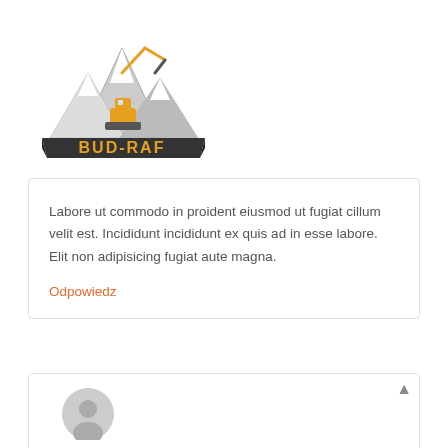[Figure (logo): BUD-RAF company logo with excavator on mountain peaks and yellow/black banner with text BUD-RAF]
Labore ut commodo in proident eiusmod ut fugiat cillum velit est. Incididunt incididunt ex quis ad in esse labore. Elit non adipisicing fugiat aute magna.
Odpowiedz
[Figure (illustration): Generic user avatar icon — gray circle with person silhouette]